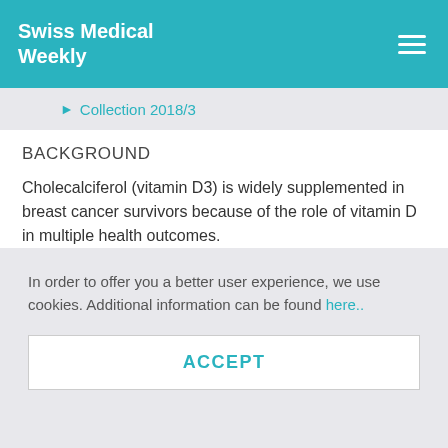Swiss Medical Weekly
▸ Collection 2018/3
BACKGROUND
Cholecalciferol (vitamin D3) is widely supplemented in breast cancer survivors because of the role of vitamin D in multiple health outcomes.
METHODS
In order to offer you a better user experience, we use cookies. Additional information can be found here..
ACCEPT